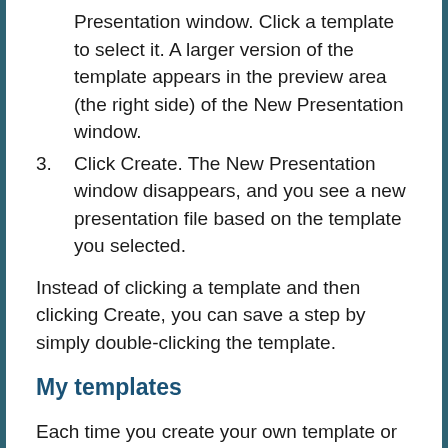Presentation window. Click a template to select it. A larger version of the template appears in the preview area (the right side) of the New Presentation window.
3. Click Create. The New Presentation window disappears, and you see a new presentation file based on the template you selected.
Instead of clicking a template and then clicking Create, you can save a step by simply double-clicking the template.
My templates
Each time you create your own template or download a